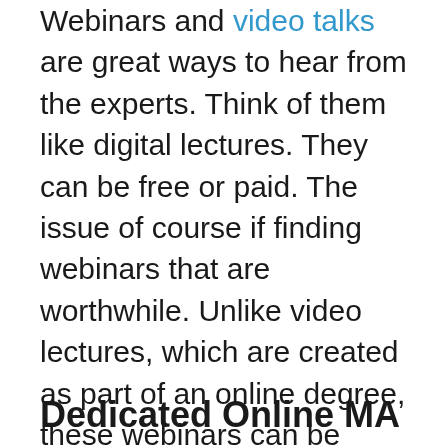Webinars and video talks are great ways to hear from the experts. Think of them like digital lectures. They can be free or paid. The issue of course if finding webinars that are worthwhile. Unlike video lectures, which are created as part of an online degree, these webinars can be created by anyone. Therefore it is important to research the speaker and ensure they are a leading expert in their field, especially if you are paying for it.
Dedicated Online MA